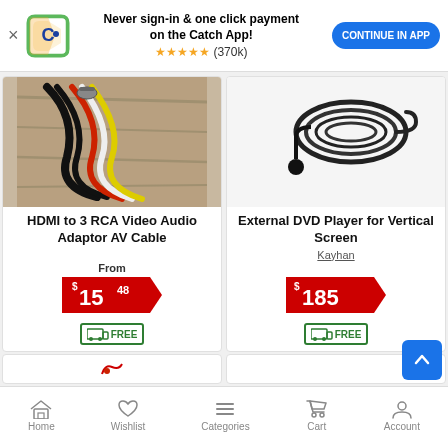[Figure (screenshot): App banner with Catch logo, promotional text, star rating, and Continue in App button]
[Figure (photo): HDMI to 3 RCA Video Audio Adaptor AV Cable product photo showing colored cables]
HDMI to 3 RCA Video Audio Adaptor AV Cable
From $15.48 FREE shipping
[Figure (photo): External DVD Player for Vertical Screen product photo showing coiled cable with sensor]
External DVD Player for Vertical Screen
Kayhan
$185 FREE shipping
Home  Wishlist  Categories  Cart  Account